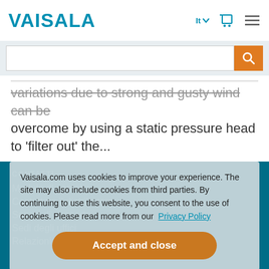VAISALA
[Figure (screenshot): Search bar with orange search button]
variations due to strong and gusty wind can be overcome by using a static pressure head to 'filter out' the...
CONTATTI
Vaisala.com uses cookies to improve your experience. The site may also include cookies from third parties. By continuing to use this website, you consent to the use of cookies. Please read more from our Privacy Policy
Accept and close
Modulo di contatto
Contattate il distributore
Servizi di supporto
Sedi degli uffici
Relazioni con gli investitori